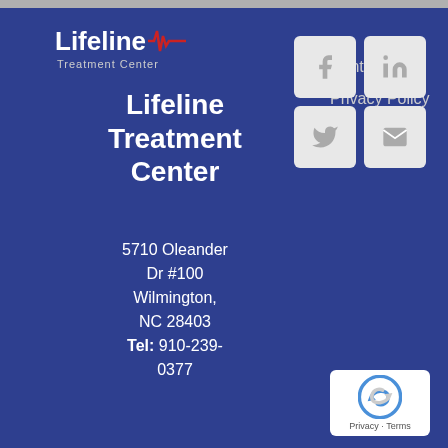[Figure (logo): Lifeline Treatment Center logo with ECG waveline graphic]
Lifeline Treatment Center
5710 Oleander Dr #100
Wilmington, NC 28403
Tel: 910-239-0377
Contact Us
Privacy Policy
[Figure (infographic): Social media buttons: Facebook, LinkedIn, Twitter, Email]
[Figure (logo): reCAPTCHA badge with Privacy and Terms links]